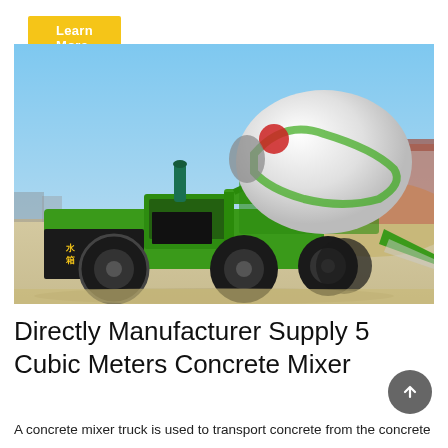Learn More
[Figure (photo): A green self-loading concrete mixer truck parked on sandy ground near a construction site, with a white rotating drum, large black tires, and industrial buildings in background.]
Directly Manufacturer Supply 5 Cubic Meters Concrete Mixer
A concrete mixer truck is used to transport concrete from the concrete